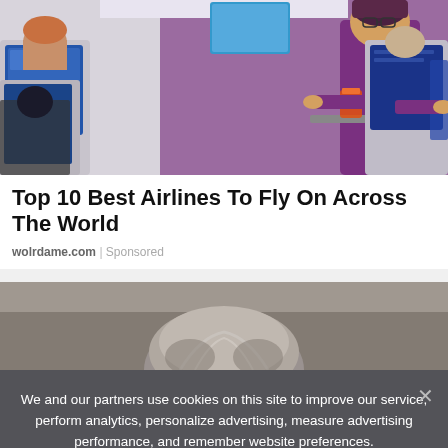[Figure (photo): Photo of an airline flight attendant in purple uniform serving drinks to passengers in economy class cabin with seatback screens visible]
Top 10 Best Airlines To Fly On Across The World
wolrdame.com | Sponsored
[Figure (photo): Partial photo showing the back of a person's head with gray hair]
We and our partners use cookies on this site to improve our service, perform analytics, personalize advertising, measure advertising performance, and remember website preferences.
Ok